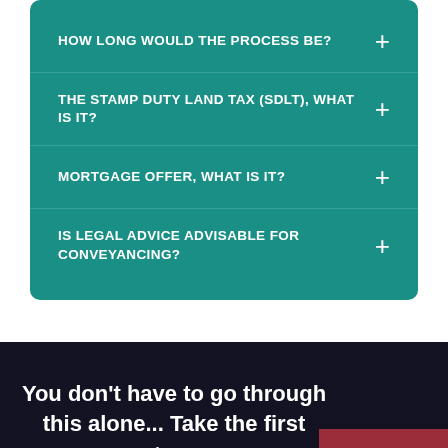HOW LONG WOULD THE PROCESS BE?
THE STAMP DUTY LAND TAX (SDLT), WHAT IS IT?
MORTGAGE OFFER, WHAT IS IT?
IS LEGAL ADVICE ADVISABLE FOR CONVEYANCING?
You don't have to go through this alone... Take the first step n
Book Consult
Free Advice